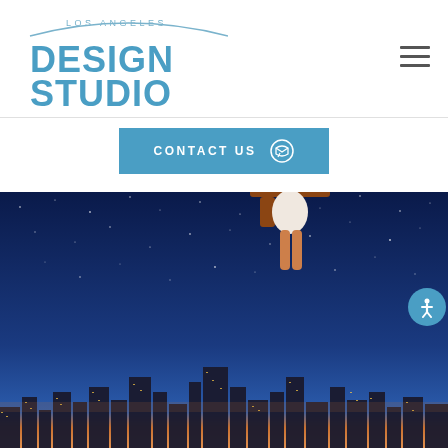[Figure (logo): Los Angeles Design Studio logo with arc graphic and teal text]
CONTACT US
[Figure (photo): A person floating/falling above the Los Angeles city skyline at night with a starry blue sky background]